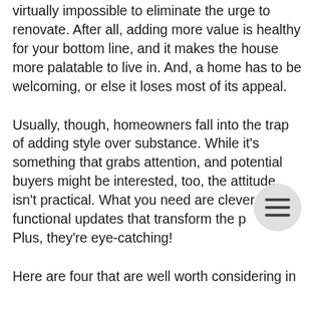virtually impossible to eliminate the urge to renovate. After all, adding more value is healthy for your bottom line, and it makes the house more palatable to live in. And, a home has to be welcoming, or else it loses most of its appeal.
Usually, though, homeowners fall into the trap of adding style over substance. While it's something that grabs attention, and potential buyers might be interested, too, the attitude isn't practical. What you need are clever and functional updates that transform the p[lace]. Plus, they're eye-catching!
Here are four that are well worth considering in